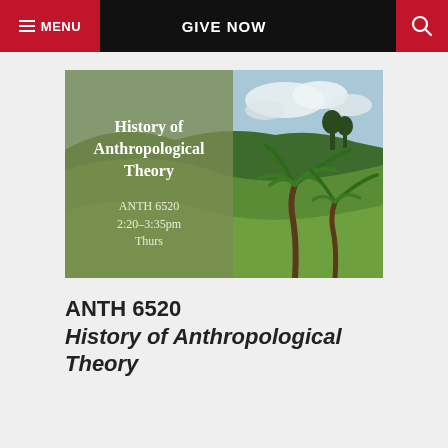MENU   GIVE NOW
[Figure (photo): Course banner image showing a tropical green hillside landscape with palm trees and a semi-transparent olive/green overlay panel on the left reading: 'History of Anthropological Theory' with course info 'ANTH 6520 2:20-3:35pm Thurs']
ANTH 6520 History of Anthropological Theory